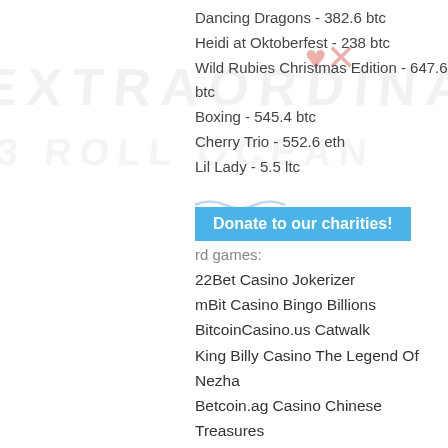Dancing Dragons - 382.6 btc
Heidi at Oktoberfest - 238 btc
Wild Rubies Christmas Edition - 647.6 btc
Boxing - 545.4 btc
Cherry Trio - 552.6 eth
Lil Lady - 5.5 ltc
[Figure (other): Blue button with text 'Donate to our charities!']
rd games:
22Bet Casino Jokerizer
mBit Casino Bingo Billions
BitcoinCasino.us Catwalk
King Billy Casino The Legend Of Nezha
Betcoin.ag Casino Chinese Treasures
Cloudbet Casino Gold Diggers
CryptoGames Festival Queens
Betchan Casino Dolphin Reef
Playamo Casino Terminator 2
Bitcasino.io Jack's Beanstalk
OneHash Japan-O-Rama
CryptoWild Casino Maniac House